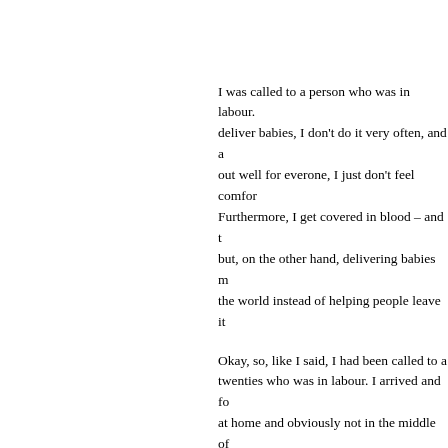I was called to a person who was in labour. I deliver babies, I don't do it very often, and although it usually works out well for everone, I just don't feel comfortable doing it. Furthermore, I get covered in blood – and the other stuff – but, on the other hand, delivering babies means helping people enter the world instead of helping people leave it.
Okay, so, like I said, I had been called to a woman in her twenties who was in labour. I arrived and found her alone at home and obviously not in the middle of labour. I spoke to the lady and was informed that she hadn't r... 911 in Australia) and that she was not curre... been pregnant. She then informed me that... she doesn't even know of any of her neigh... appologize and check with our dispatch to ... right location. They confirm that I have the...
I ask them to call back the phone number w... call for the emergency in the first place. The... ring it.
Eerily, the phone in the house starts to ring... someone else hasn't just now decided to ri...